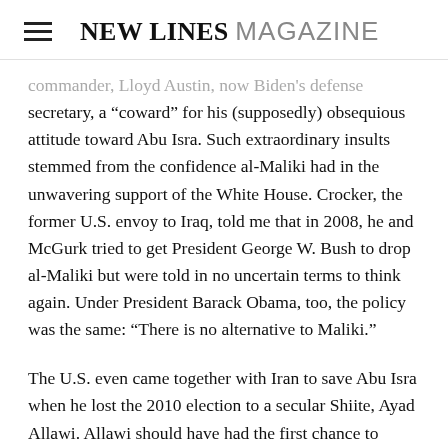NEW LINES MAGAZINE
commander, Lloyd Austin, now Biden's defense secretary, a “coward” for his (supposedly) obsequious attitude toward Abu Isra. Such extraordinary insults stemmed from the confidence al-Maliki had in the unwavering support of the White House. Crocker, the former U.S. envoy to Iraq, told me that in 2008, he and McGurk tried to get President George W. Bush to drop al-Maliki but were told in no uncertain terms to think again. Under President Barack Obama, too, the policy was the same: “There is no alternative to Maliki.”
The U.S. even came together with Iran to save Abu Isra when he lost the 2010 election to a secular Shiite, Ayad Allawi. Allawi should have had the first chance to